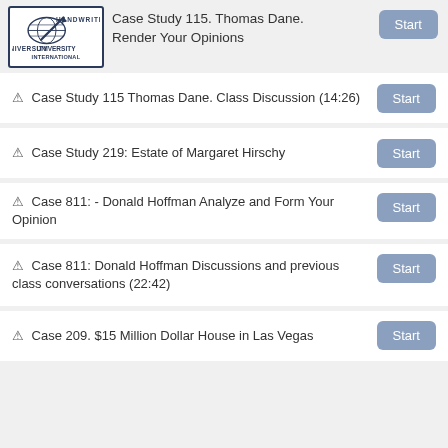[Figure (logo): Handwriting University International logo with pen/globe icon]
Case Study 115. Thomas Dane. Render Your Opinions
Case Study 115 Thomas Dane. Class Discussion (14:26)
Case Study 219: Estate of Margaret Hirschy
Case 811: - Donald Hoffman Analyze and Form Your Opinion
Case 811: Donald Hoffman Discussions and previous class conversations (22:42)
Case 209. $15 Million Dollar House in Las Vegas